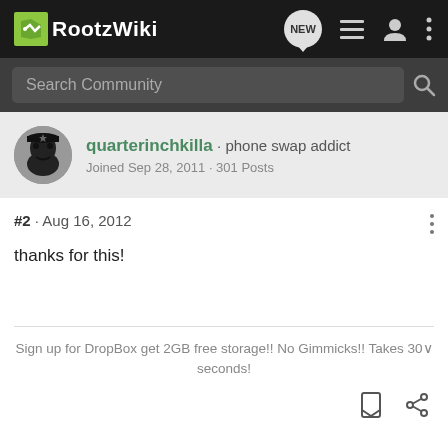RootzWiki
Search Community
quarterinchkilla · phone swap addict
Joined Sep 28, 2011 · 301 Posts
#2 · Aug 16, 2012
thanks for this!
Sign up for DropBox get 2GB free storage!! No Gimmicks!! Takes 30 seconds!